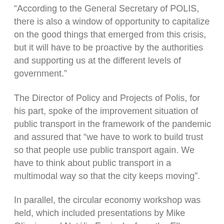“According to the General Secretary of POLIS, there is also a window of opportunity to capitalize on the good things that emerged from this crisis, but it will have to be proactive by the authorities and supporting us at the different levels of government.”
The Director of Policy and Projects of Polis, for his part, spoke of the improvement situation of public transport in the framework of the pandemic and assured that “we have to work to build trust so that people use public transport again. We have to think about public transport in a multimodal way so that the city keeps moving”.
In parallel, the circular economy workshop was held, which included presentations by Mike Oliveira and Natália Espinola, from the Ellen MacArthur Foundation. The experts talked about how to carry out, based on the available information, the transition to a circular...